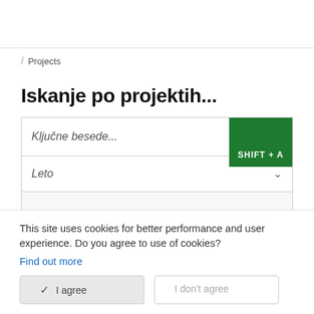/ Projects
Iskanje po projektih...
Ključne besede...
Leto
This site uses cookies for better performance and user experience. Do you agree to use of cookies?
Find out more
I agree
I don't agree